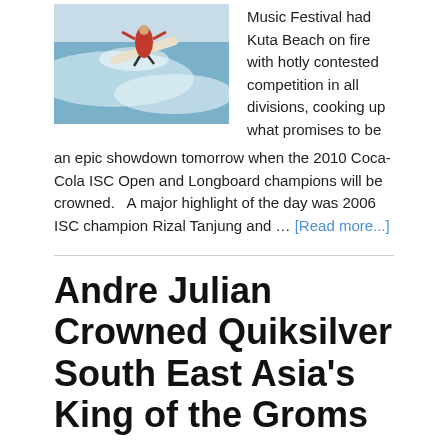[Figure (photo): Surfer in red riding a wave]
Music Festival had Kuta Beach on fire with hotly contested competition in all divisions, cooking up what promises to be an epic showdown tomorrow when the 2010 Coca-Cola ISC Open and Longboard champions will be crowned.   A major highlight of the day was 2006 ISC champion Rizal Tanjung and … [Read more...]
Andre Julian Crowned Quiksilver South East Asia's King of the Groms
July 12, 2010 by Troy